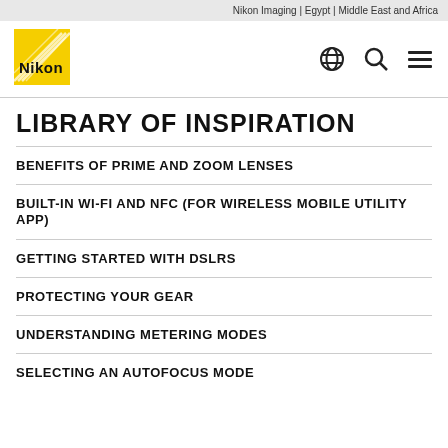Nikon Imaging | Egypt | Middle East and Africa
[Figure (logo): Nikon yellow logo with diagonal lines and Nikon text]
LIBRARY OF INSPIRATION
BENEFITS OF PRIME AND ZOOM LENSES
BUILT-IN WI-FI AND NFC (FOR WIRELESS MOBILE UTILITY APP)
GETTING STARTED WITH DSLRS
PROTECTING YOUR GEAR
UNDERSTANDING METERING MODES
SELECTING AN AUTOFOCUS MODE